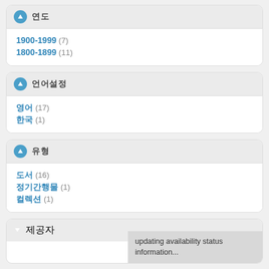연도
1900-1999 (7)
1800-1899 (11)
언어설정
영어 (17)
한국 (1)
유형
도서 (16)
정기간행물 (1)
컬렉션 (1)
제공자
updating availability status information...